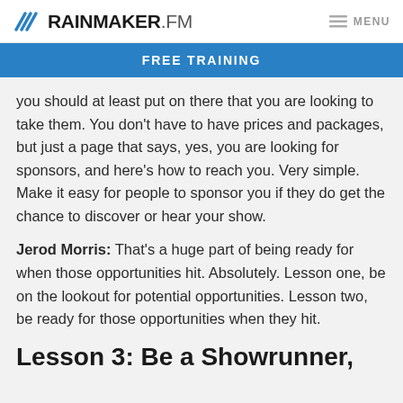RAINMAKER.FM  MENU
FREE TRAINING
you should at least put on there that you are looking to take them. You don’t have to have prices and packages, but just a page that says, yes, you are looking for sponsors, and here’s how to reach you. Very simple. Make it easy for people to sponsor you if they do get the chance to discover or hear your show.
Jerod Morris: That’s a huge part of being ready for when those opportunities hit. Absolutely. Lesson one, be on the lookout for potential opportunities. Lesson two, be ready for those opportunities when they hit.
Lesson 3: Be a Showrunner,